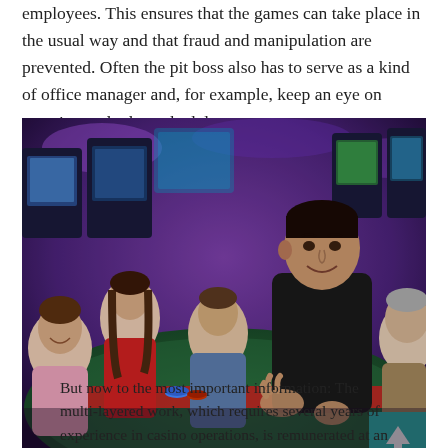employees. This ensures that the games can take place in the usual way and that fraud and manipulation are prevented. Often the pit boss also has to serve as a kind of office manager and, for example, keep an eye on vacation and other schedules.
[Figure (photo): A casino pit boss in a black shirt standing at a gaming table, smiling and gesturing with hands, with several casino patrons seated around the table in the background. The casino floor has colorful slot machines and purple lighting.]
But now to the most important information: The multi-layered work, which requires several years of experience in casino operations, is remunerated at an